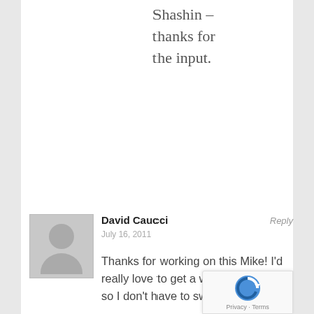Shashin – thanks for the input.
David Caucci
July 16, 2011
Reply
Thanks for working on this Mike! I'd really love to get a working Shashin so I don't have to switch plugins.

Is there any way I can help with the code?

Best,

David